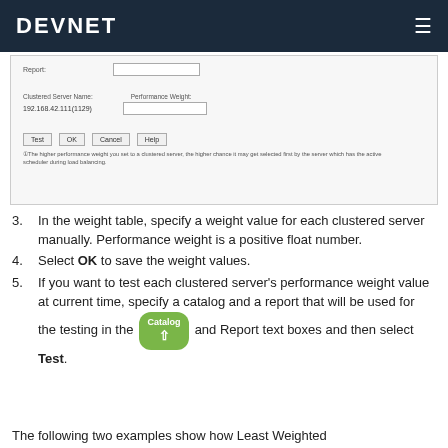DEVNET
[Figure (screenshot): A dialog box screenshot showing fields for Report, Clustered Server Name, Performance Weight with IP 192.168.42.111(1129), buttons: Test, OK, Cancel, Help, and a note about performance weight and load balancing.]
In the weight table, specify a weight value for each clustered server manually. Performance weight is a positive float number.
Select OK to save the weight values.
If you want to test each clustered server's performance weight value at current time, specify a catalog and a report that will be used for the testing in the Catalog and Report text boxes and then select Test.
The following two examples show how Least Weighted